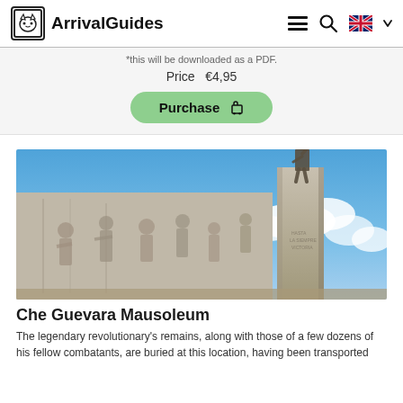ArrivalGuides
*this will be downloaded as a PDF.
Price  €4,95
Purchase
[Figure (photo): Che Guevara Mausoleum monument: a large stone relief wall with carved figures of revolutionaries on the left and a tall stone pillar topped with a bronze statue of Che Guevara on the right, against a blue sky with clouds.]
Che Guevara Mausoleum
The legendary revolutionary's remains, along with those of a few dozens of his fellow combatants, are buried at this location, having been transported